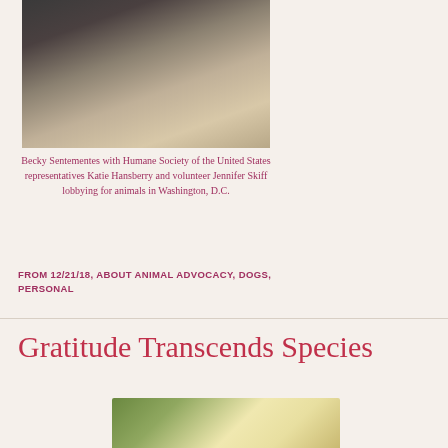[Figure (photo): Three women standing together outdoors on a pathway, appearing to pose for a photo.]
Becky Sentementes with Humane Society of the United States representatives Katie Hansberry and volunteer Jennifer Skiff lobbying for animals in Washington, D.C.
FROM 12/21/18, ABOUT ANIMAL ADVOCACY, DOGS, PERSONAL
Gratitude Transcends Species
[Figure (photo): A light-colored animal (possibly a dog or cat) outdoors among green plants.]